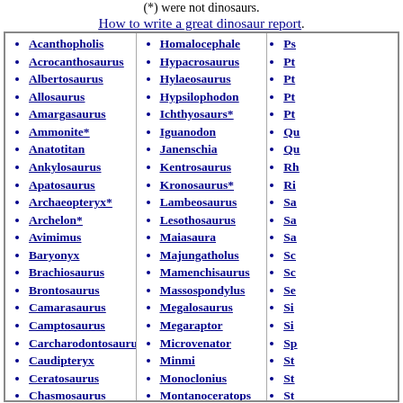(*) were not dinosaurs.
How to write a great dinosaur report.
Acanthopholis
Acrocanthosaurus
Albertosaurus
Allosaurus
Amargasaurus
Ammonite*
Anatotitan
Ankylosaurus
Apatosaurus
Archaeopteryx*
Archelon*
Avimimus
Baryonyx
Brachiosaurus
Brontosaurus
Camarasaurus
Camptosaurus
Carcharodontosaurus
Caudipteryx
Ceratosaurus
Chasmosaurus
Coelophysis
Homalocephale
Hypacrosaurus
Hylaeosaurus
Hypsilophodon
Ichthyosaurs*
Iguanodon
Janenschia
Kentrosaurus
Kronosaurus*
Lambeosaurus
Lesothosaurus
Maiasaura
Majungatholus
Mamenchisaurus
Massospondylus
Megalosaurus
Megaraptor
Microvenator
Minmi
Monoclonius
Montanoceratops
Mosasaurs*
Ps...
Pt...
Pt...
Pt...
Pt...
Qu...
Qu...
Rh...
Ri...
Sa...
Sa...
Sa...
Sc...
Sc...
Se...
Si...
Si...
Sp...
St...
St...
St...
Su...